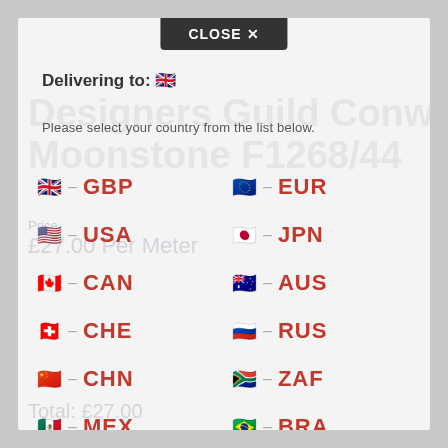CLOSE ✕
Delivering to: 🇬🇧
Please select your country from the list below.
🇬🇧 – GBP
🇪🇺 – EUR
🇺🇸 – USA
🇯🇵 – JPN
🇨🇦 – CAN
🇦🇺 – AUS
🇨🇭 – CHE
🇷🇺 – RUS
🇨🇳 – CHN
🇿🇦 – ZAF
🇲🇽 – MEX
🇧🇷 – BRA
🇳🇿 – NZL